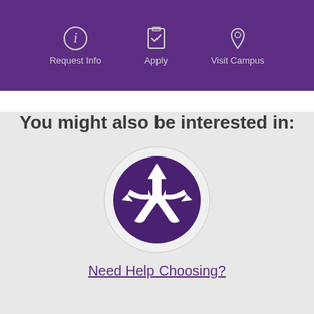Request Info  Apply  Visit Campus
You might also be interested in:
[Figure (illustration): A circular icon with a dark purple background showing a white directional arrows symbol — one arrow pointing up, one curving left, one curving right, suggesting multiple path choices.]
Need Help Choosing?